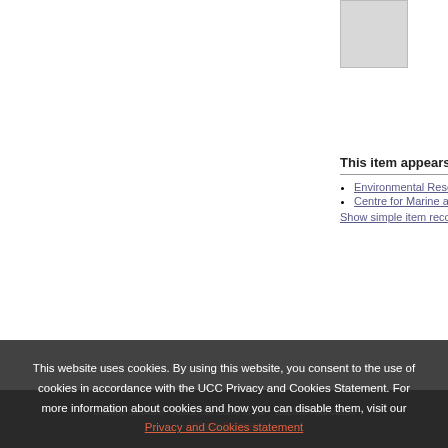[Figure (other): Small thumbnail image placeholder (grey box)]
This item appears i
Environmental Rese
Centre for Marine an
Show simple item record
[Figure (other): Creative Commons license badge showing CC BY NC ND icons]
Exc by (http://creativecommen
[Figure (other): Statistics bar chart icon]
Show Statistical I
This website uses cookies. By using this website, you consent to the use of cookies in accordance with the UCC Privacy and Cookies Statement. For more information about cookies and how you can disable them, visit our
Privacy and Cookies statement
DSpace Software    About You Come to me DSpace Foundation...